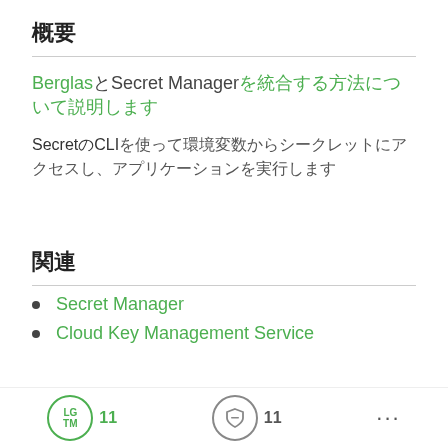概要
BerglasとSecret Managerを統合する方法について説明します
SecretのCLIを使って環境変数からシークレットにアクセスし、アプリケーションを実行します
関連
Secret Manager
Cloud Key Management Service
LGTM 11  11 ...